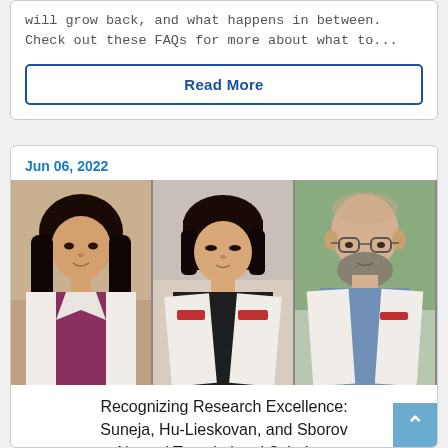will grow back, and what happens in between. Check out these FAQs for more about what to...
Read More
Jun 06, 2022
[Figure (photo): Three medical professionals in white coats: a woman with long dark hair, an Asian woman with short dark hair, and a bald man with glasses and a beard.]
Recognizing Research Excellence: Suneja, Hu-Lieskovan, and Sborov Named Translational Scholars